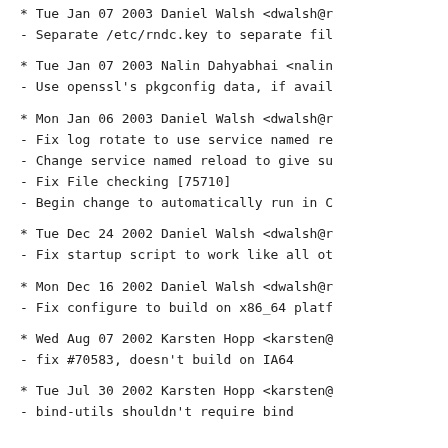* Tue Jan 07 2003 Daniel Walsh <dwalsh@r
- Separate /etc/rndc.key to separate fil
* Tue Jan 07 2003 Nalin Dahyabhai <nalin
- Use openssl's pkgconfig data, if avail
* Mon Jan 06 2003 Daniel Walsh <dwalsh@r
- Fix log rotate to use service named re
- Change service named reload to give su
- Fix File checking [75710]
- Begin change to automatically run in C
* Tue Dec 24 2002 Daniel Walsh <dwalsh@r
- Fix startup script to work like all ot
* Mon Dec 16 2002 Daniel Walsh <dwalsh@r
- Fix configure to build on x86_64 platf
* Wed Aug 07 2002 Karsten Hopp <karsten@
- fix #70583,  doesn't build on IA64
* Tue Jul 30 2002 Karsten Hopp <karsten@
- bind-utils shouldn't require bind